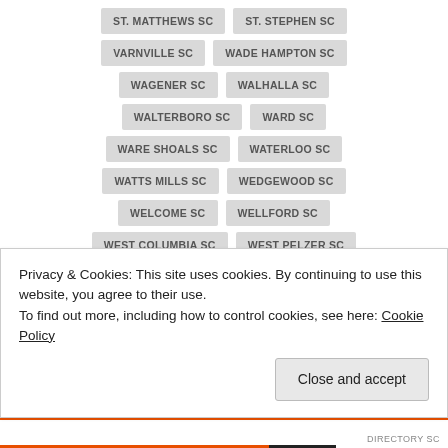ST. MATTHEWS SC
ST. STEPHEN SC
VARNVILLE SC
WADE HAMPTON SC
WAGENER SC
WALHALLA SC
WALTERBORO SC
WARD SC
WARE SHOALS SC
WATERLOO SC
WATTS MILLS SC
WEDGEWOOD SC
WELCOME SC
WELLFORD SC
WEST COLUMBIA SC
WEST PELZER SC
WEST UNION SC
WESTMINSTER SC
WHITMIRE SC
WILKINSON HEIGHTS SC
WILLIAMS SC
WILLIAMSTON SC
Privacy & Cookies: This site uses cookies. By continuing to use this website, you agree to their use.
To find out more, including how to control cookies, see here: Cookie Policy
Close and accept